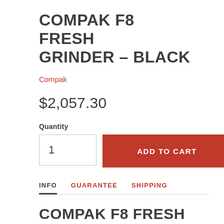COMPAK F8 FRESH GRINDER – BLACK
Compak
$2,057.30
Quantity
1
ADD TO CART
INFO   GUARANTEE   SHIPPING
COMPAK F8 FRESH GRINDER – BLACK